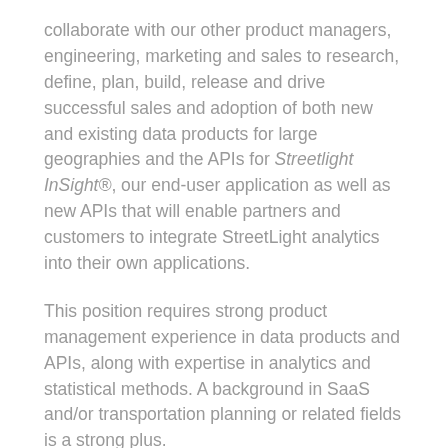collaborate with our other product managers, engineering, marketing and sales to research, define, plan, build, release and drive successful sales and adoption of both new and existing data products for large geographies and the APIs for Streetlight InSight®, our end-user application as well as new APIs that will enable partners and customers to integrate StreetLight analytics into their own applications.
This position requires strong product management experience in data products and APIs, along with expertise in analytics and statistical methods. A background in SaaS and/or transportation planning or related fields is a strong plus.
Candidates located in the San Francisco, CA region that can eventually work from our SF office are